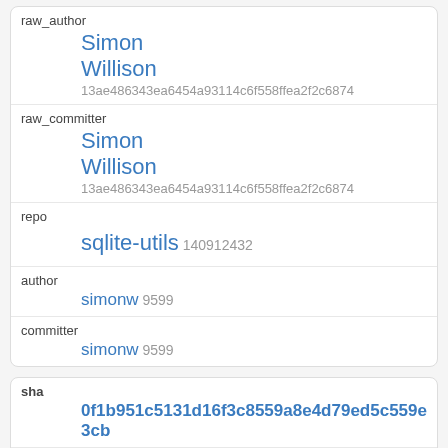| raw_author | Simon
Willison 13ae486343ea6454a93114c6f558ffea2f2c6874 |
| raw_committer | Simon
Willison 13ae486343ea6454a93114c6f558ffea2f2c6874 |
| repo | sqlite-utils 140912432 |
| author | simonw 9599 |
| committer | simonw 9599 |
| sha | 0f1b951c5131d16f3c8559a8e4d79ed5c559e3cb |
| message | Applied Black |
| author_date | 2020-09-18T22:20:55Z |
| committer_date |  |